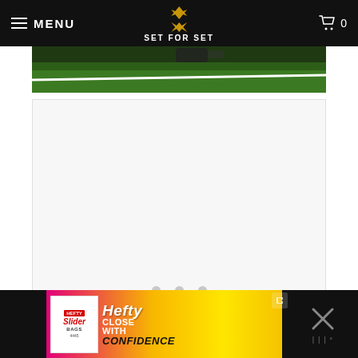MENU | SET FOR SET | Cart 0
[Figure (photo): Sports field image strip showing green grass with white yard line markings]
[Figure (photo): Large white placeholder/loading area with three circular slider dots at the bottom center]
[Figure (other): Hefty Slider Bags advertisement banner at the bottom. Shows Hefty logo, 'CLOSE WITH CONFIDENCE' text on colorful pink/yellow background. Close button and X button visible.]